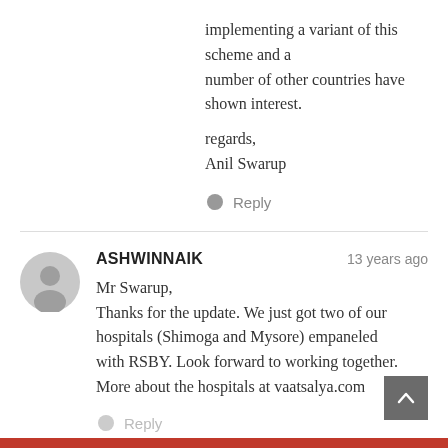implementing a variant of this scheme and a number of other countries have shown interest.
regards,
Anil Swarup
Reply
ASHWINNAIK   13 years ago
Mr Swarup,
Thanks for the update. We just got two of our hospitals (Shimoga and Mysore) empaneled with RSBY. Look forward to working together. More about the hospitals at vaatsalya.com
Reply